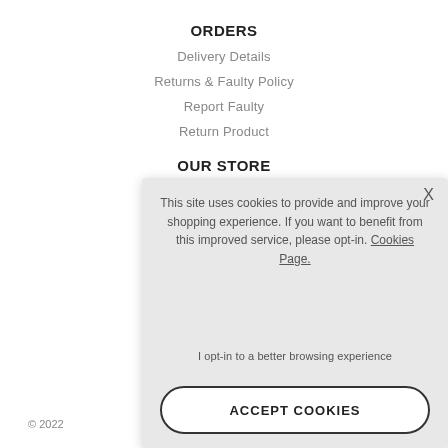ORDERS
Delivery Details
Returns & Faulty Policy
Report Faulty
Return Product
OUR STORE
This site uses cookies to provide and improve your shopping experience. If you want to benefit from this improved service, please opt-in. Cookies Page.
I opt-in to a better browsing experience
ACCEPT COOKIES
© 2022